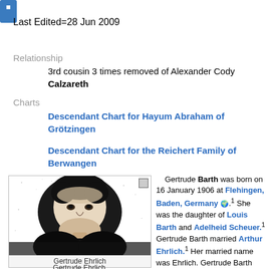Last Edited=28 Jun 2009
Relationship
3rd cousin 3 times removed of Alexander Cody Calzareth
Charts
Descendant Chart for Hayum Abraham of Grötzingen
Descendant Chart for the Reichert Family of Berwangen
[Figure (photo): Black and white portrait photo of Gertrude Ehrlich]
Gertrude Ehrlich
Gertrude Barth was born on 16 January 1906 at Flehingen, Baden, Germany. She was the daughter of Louis Barth and Adelheid Scheuer. Gertrude Barth married Arthur Ehrlich. Her married name was Ehrlich. Gertrude Barth died on 8 March 1998 at Minneapolis, Minnesota, USA at age